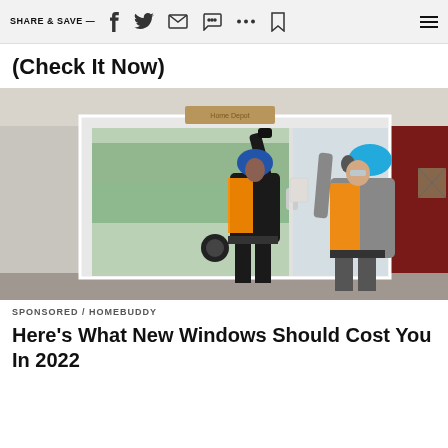SHARE & SAVE —
(Check It Now)
[Figure (photo): Two workers in orange high-visibility vests and blue safety helmets installing or lifting a large white-framed window inside a home. One worker is outside reaching up, the other is inside holding the frame.]
SPONSORED / HOMEBUDDY
Here's What New Windows Should Cost You In 2022